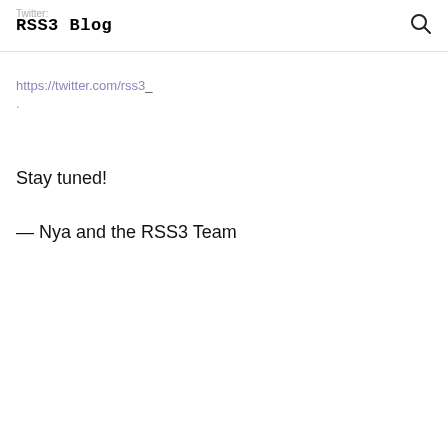RSS3 Blog
Twitter:
https://twitter.com/rss3_
Stay tuned!
— Nya and the RSS3 Team